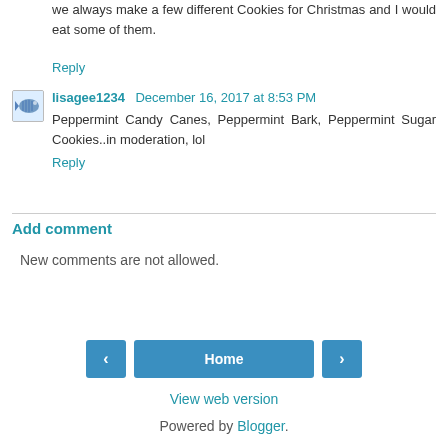we always make a few different Cookies for Christmas and I would eat some of them.
Reply
lisagee1234  December 16, 2017 at 8:53 PM
Peppermint Candy Canes, Peppermint Bark, Peppermint Sugar Cookies..in moderation, lol
Reply
Add comment
New comments are not allowed.
Home
View web version
Powered by Blogger.